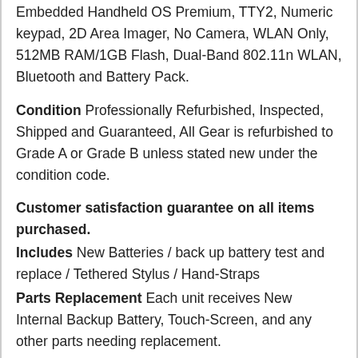Embedded Handheld OS Premium, TTY2, Numeric keypad, 2D Area Imager, No Camera, WLAN Only, 512MB RAM/1GB Flash, Dual-Band 802.11n WLAN, Bluetooth and Battery Pack.
Condition Professionally Refurbished, Inspected, Shipped and Guaranteed, All Gear is refurbished to Grade A or Grade B unless stated new under the condition code.
Customer satisfaction guarantee on all items purchased.
Includes New Batteries / back up battery test and replace / Tethered Stylus / Hand-Straps
Parts Replacement Each unit receives New Internal Backup Battery, Touch-Screen, and any other parts needing replacement.
Hardware and software testing done on